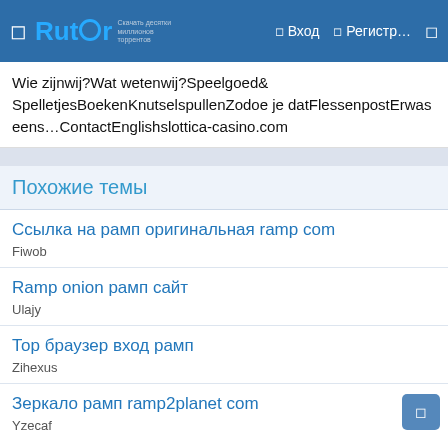Rutor — Вход — Регистр...
Wie zijnwij?Wat wetenwij?Speelgoed& SpelletjesBoekenKnutselspullenZodoe je datFlessenpostErwas eens…ContactEnglishslottica-casino.com
Похожие темы
Ссылка на рамп оригинальная ramp com
Fiwob
Ramp onion рамп сайт
Ulajy
Тор браузер вход рамп
Zihexus
Зеркало рамп ramp2planet com
Yzecaf
Рамп сайт зеркало ramp9webe
Uwyjel